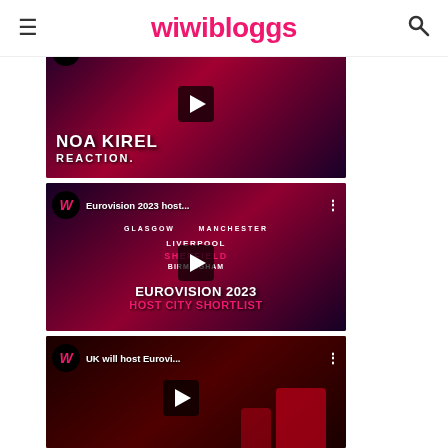wiwibloggs
[Figure (screenshot): YouTube video thumbnail: Noa Kirel reaction video with play button, wiwibloggs W logo, pink and dark purple background with 'NOA KIREL REACTION' text overlay]
[Figure (screenshot): YouTube video thumbnail: Eurovision 2023 host city shortlist video with play button, city names (Glasgow, Manchester, Liverpool, Sheffield, Birmingham), 'EUROVISION 2023 HOST CITY SHORTLIST' text]
[Figure (screenshot): YouTube video thumbnail: UK will host Eurovision video with play button, wiwibloggs W logo, news studio background with red chairs]